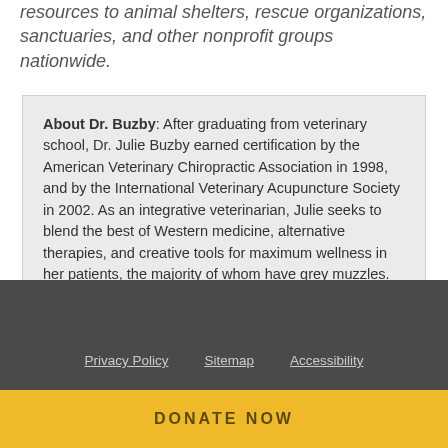resources to animal shelters, rescue organizations, sanctuaries, and other nonprofit groups nationwide.
About Dr. Buzby: After graduating from veterinary school, Dr. Julie Buzby earned certification by the American Veterinary Chiropractic Association in 1998, and by the International Veterinary Acupuncture Society in 2002. As an integrative veterinarian, Julie seeks to blend the best of Western medicine, alternative therapies, and creative tools for maximum wellness in her patients, the majority of whom have grey muzzles.
Privacy Policy   Sitemap   Accessibility
DONATE NOW